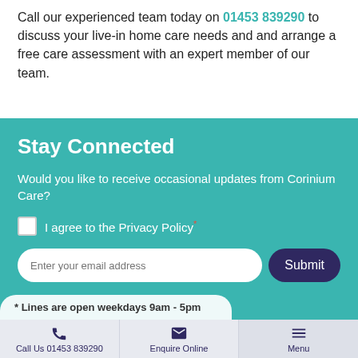Call our experienced team today on 01453 839290 to discuss your live-in home care needs and and arrange a free care assessment with an expert member of our team.
Stay Connected
Would you like to receive occasional updates from Corinium Care?
I agree to the Privacy Policy*
Enter your email address
* Lines are open weekdays 9am - 5pm
Call Us 01453 839290 | Enquire Online | Menu